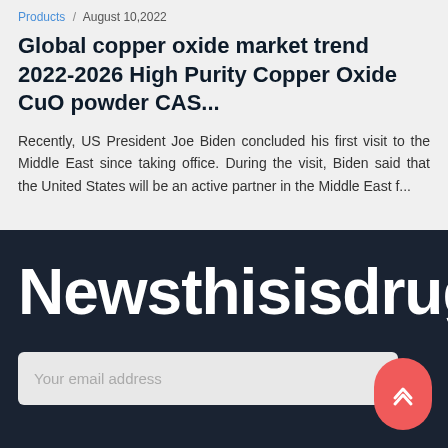Products / August 10,2022
Global copper oxide market trend 2022-2026 High Purity Copper Oxide CuO powder CAS...
Recently, US President Joe Biden concluded his first visit to the Middle East since taking office. During the visit, Biden said that the United States will be an active partner in the Middle East f...
Newsthisisdrugs
Your email address